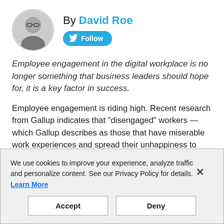[Figure (photo): Black and white circular portrait photo of a man wearing glasses]
By David Roe
[Figure (other): Twitter Follow button in blue]
Employee engagement in the digital workplace is no longer something that business leaders should hope for, it is a key factor in success.
Employee engagement is riding high. Recent research from Gallup indicates that "disengaged" workers — which Gallup describes as those that have miserable work experiences and spread their unhappiness to their
We use cookies to improve your experience, analyze traffic and personalize content. See our Privacy Policy for details.
Learn More
Accept
Deny